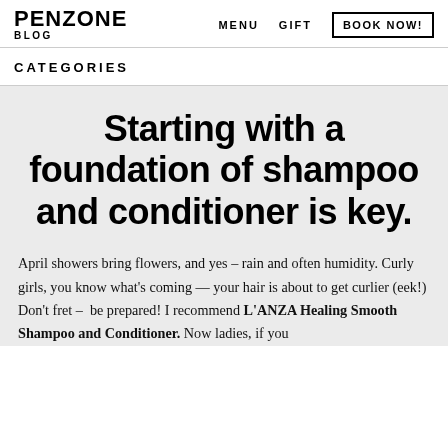PENZONE BLOG | MENU | GIFT | BOOK NOW!
CATEGORIES
Starting with a foundation of shampoo and conditioner is key.
April showers bring flowers, and yes – rain and often humidity. Curly girls, you know what's coming — your hair is about to get curlier (eek!) Don't fret –  be prepared! I recommend L'ANZA Healing Smooth Shampoo and Conditioner. Now ladies, if you